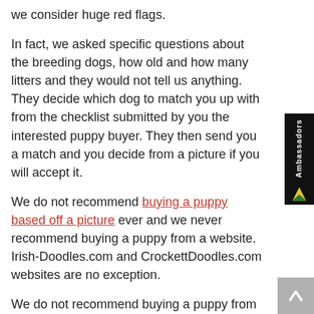we consider huge red flags.
In fact, we asked specific questions about the breeding dogs, how old and how many litters and they would not tell us anything. They decide which dog to match you up with from the checklist submitted by you the interested puppy buyer. They then send you a match and you decide from a picture if you will accept it.
We do not recommend buying a puppy based off a picture ever and we never recommend buying a puppy from a website. Irish-Doodles.com and CrockettDoodles.com websites are no exception.
We do not recommend buying a puppy from Irish-Doodles.com because you are actually buying the puppy from Crockettdoodles.com There is no transparency about the breeder or where your puppy is actually coming from. There are too many red flags, and you might be supporting cruelty. Video chats, videos and photo do not take the place of seeing firsthand.